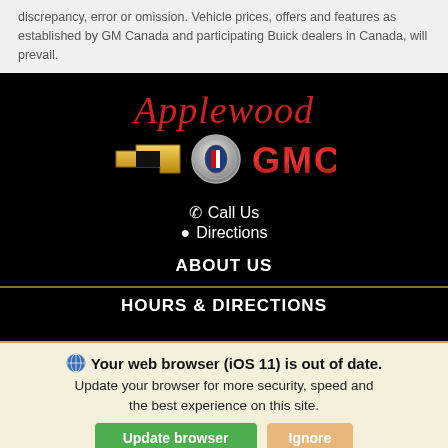discrepancy, error or omission. Vehicle prices, offers and features as established by GM Canada and participating Buick dealers in Canada, will prevail.
[Figure (logo): Applewood Chevrolet Buick GMC dealership logo on black background with red cursive Applewood text, gold Chevrolet bowtie, Buick globe, and red GMC lettering]
Call Us
Directions
ABOUT US
HOURS & DIRECTIONS
Your web browser (iOS 11) is out of date. Update your browser for more security, speed and the best experience on this site.